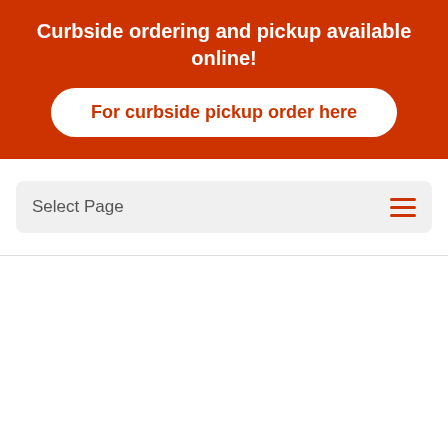Curbside ordering and pickup available online!
For curbside pickup order here
Select Page